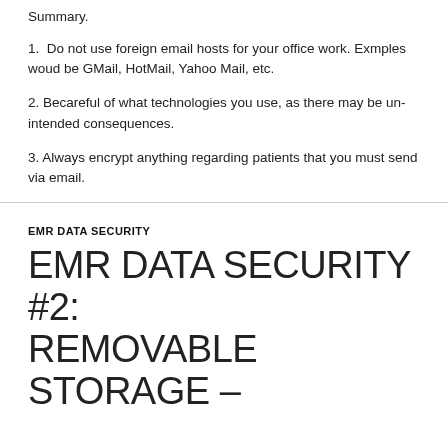Summary.
1.  Do not use foreign email hosts for your office work. Exmples woud be GMail, HotMail, Yahoo Mail, etc.
2. Becareful of what technologies you use, as there may be un-intended consequences.
3. Always encrypt anything regarding patients that you must send via email.
EMR DATA SECURITY
EMR DATA SECURITY #2: REMOVABLE STORAGE –